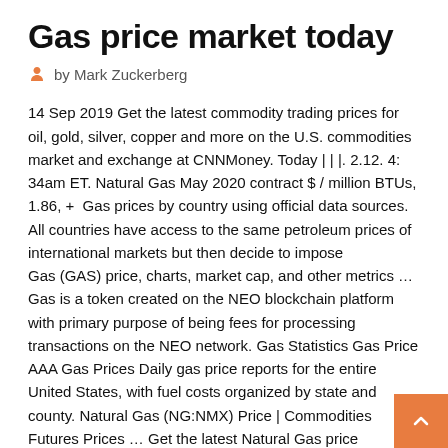Gas price market today
by Mark Zuckerberg
14 Sep 2019 Get the latest commodity trading prices for oil, gold, silver, copper and more on the U.S. commodities market and exchange at CNNMoney. Today | | |. 2.12. 4: 34am ET. Natural Gas May 2020 contract $ / million BTUs, 1.86, +  Gas prices by country using official data sources. All countries have access to the same petroleum prices of international markets but then decide to impose
Gas (GAS) price, charts, market cap, and other metrics … Gas is a token created on the NEO blockchain platform with primary purpose of being fees for processing transactions on the NEO network. Gas Statistics Gas Price AAA Gas Prices Daily gas price reports for the entire United States, with fuel costs organized by state and county. Natural Gas (NG:NMX) Price | Commodities Futures Prices … Get the latest Natural Gas price (NG:NMX) well as the latest futures prices and other commodity market